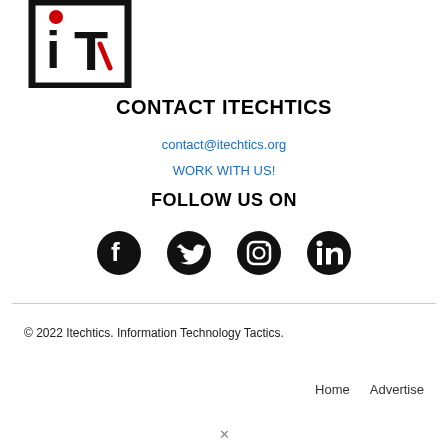[Figure (logo): iTechtics logo — bold black square border with 'iT' letters, the i in lowercase with a red dot, the T in uppercase bold black, both large inside the square]
CONTACT ITECHTICS
contact@itechtics.org
WORK WITH US!
FOLLOW US ON
[Figure (infographic): Four social media icons in black: Facebook, Twitter, Instagram, LinkedIn]
© 2022 Itechtics. Information Technology Tactics.
Home   Advertise